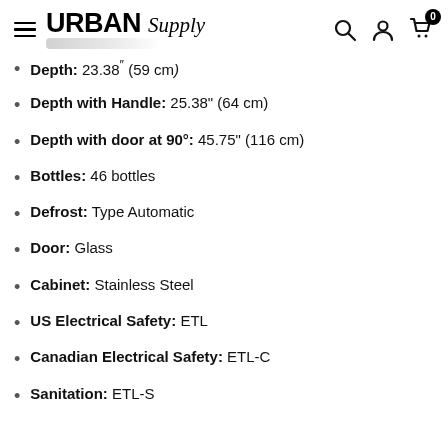Urban Supply
Depth: 23.38" (59 cm)
Depth with Handle: 25.38" (64 cm)
Depth with door at 90°: 45.75" (116 cm)
Bottles: 46 bottles
Defrost: Type Automatic
Door: Glass
Cabinet: Stainless Steel
US Electrical Safety: ETL
Canadian Electrical Safety: ETL-C
Sanitation: ETL-S